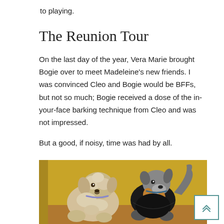to playing.
The Reunion Tour
On the last day of the year, Vera Marie brought Bogie over to meet Madeleine's new friends. I was convinced Cleo and Bogie would be BFFs, but not so much; Bogie received a dose of the in-your-face barking technique from Cleo and was not impressed.
But a good, if noisy, time was had by all.
[Figure (photo): Two small dogs facing each other — a fluffy light-colored dog on the left and a darker dog wearing a black jacket on the right — against a yellow/gold background.]